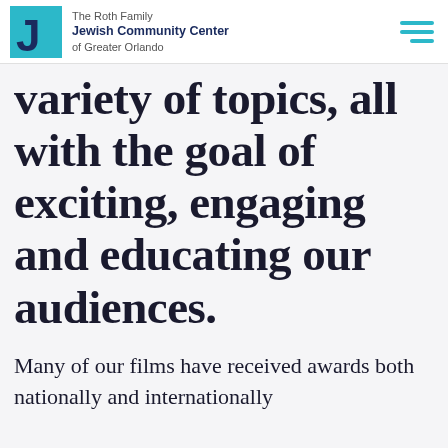The Roth Family Jewish Community Center of Greater Orlando
variety of topics, all with the goal of exciting, engaging and educating our audiences.
Many of our films have received awards both nationally and internationally